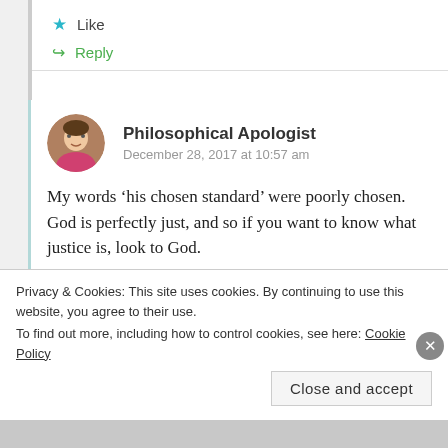Like
Reply
Philosophical Apologist
December 28, 2017 at 10:57 am
My words ‘his chosen standard’ were poorly chosen. God is perfectly just, and so if you want to know what justice is, look to God.
‘It also makes morality entirely arbitrary.’
Privacy & Cookies: This site uses cookies. By continuing to use this website, you agree to their use.
To find out more, including how to control cookies, see here: Cookie Policy
Close and accept